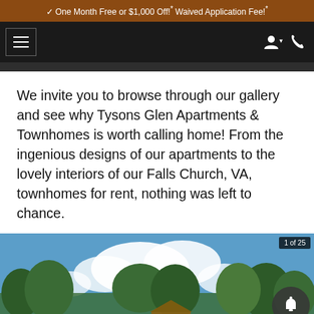One Month Free or $1,000 Off!* Waived Application Fee!*
[Figure (screenshot): Navigation bar with hamburger menu on left and user/phone icons on right, dark background]
We invite you to browse through our gallery and see why Tysons Glen Apartments & Townhomes is worth calling home! From the ingenious designs of our apartments to the lovely interiors of our Falls Church, VA, townhomes for rent, nothing was left to chance.
[Figure (photo): Outdoor photo of apartment community with playground structure, trees, blue sky with clouds, and a building visible. Shows '1 of 25' badge in top right corner. Left and right navigation arrows at bottom.]